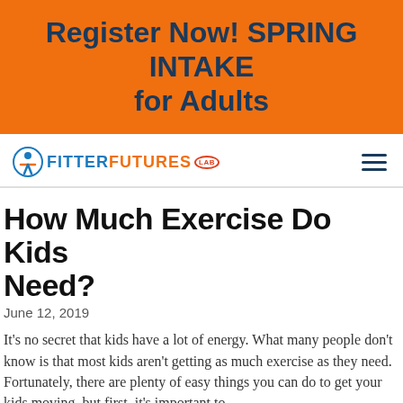Register Now! SPRING INTAKE for Adults
[Figure (logo): Fitter Futures Lab logo with circular icon, blue FITTER text, orange FUTURES text, and LAB badge]
How Much Exercise Do Kids Need?
June 12, 2019
It's no secret that kids have a lot of energy. What many people don't know is that most kids aren't getting as much exercise as they need. Fortunately, there are plenty of easy things you can do to get your kids moving, but first, it's important to